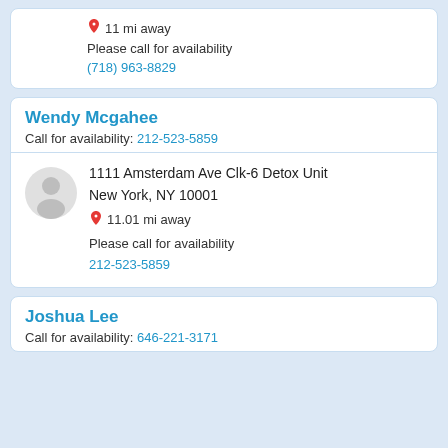11 mi away
Please call for availability
(718) 963-8829
Wendy Mcgahee
Call for availability: 212-523-5859
1111 Amsterdam Ave Clk-6 Detox Unit New York, NY 10001
11.01 mi away
Please call for availability
212-523-5859
Joshua Lee
Call for availability: 646-221-3171